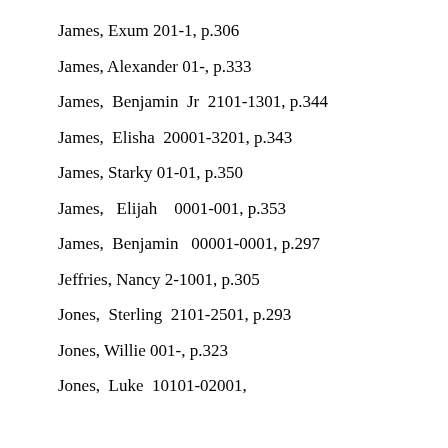James, Exum 201-1, p.306
James, Alexander 01-, p.333
James, Benjamin Jr 2101-1301, p.344
James, Elisha 20001-3201, p.343
James, Starky 01-01, p.350
James, Elijah 0001-001, p.353
James, Benjamin 00001-0001, p.297
Jeffries, Nancy 2-1001, p.305
Jones, Sterling 2101-2501, p.293
Jones, Willie 001-, p.323
Jones, Luke 10101-02001,